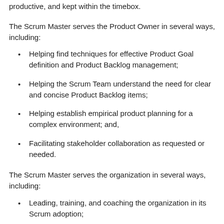productive, and kept within the timebox.
The Scrum Master serves the Product Owner in several ways, including:
Helping find techniques for effective Product Goal definition and Product Backlog management;
Helping the Scrum Team understand the need for clear and concise Product Backlog items;
Helping establish empirical product planning for a complex environment; and,
Facilitating stakeholder collaboration as requested or needed.
The Scrum Master serves the organization in several ways, including:
Leading, training, and coaching the organization in its Scrum adoption;